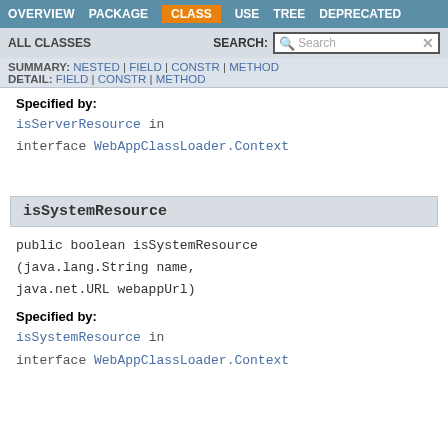OVERVIEW  PACKAGE  CLASS  USE  TREE  DEPRECATED
ALL CLASSES   SEARCH:
SUMMARY: NESTED | FIELD | CONSTR | METHOD  DETAIL: FIELD | CONSTR | METHOD
Specified by:
isServerResource in interface WebAppClassLoader.Context
isSystemResource
public boolean isSystemResource(java.lang.String name, java.net.URL webappUrl)
Specified by:
isSystemResource in interface WebAppClassLoader.Context